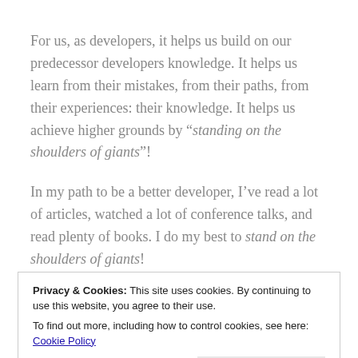For us, as developers, it helps us build on our predecessor developers knowledge. It helps us learn from their mistakes, from their paths, from their experiences: their knowledge. It helps us achieve higher grounds by “standing on the shoulders of giants”!
In my path to be a better developer, I’ve read a lot of articles, watched a lot of conference talks, and read plenty of books. I do my best to stand on the shoulders of giants!
Privacy & Cookies: This site uses cookies. By continuing to use this website, you agree to their use.
To find out more, including how to control cookies, see here: Cookie Policy
we end up with a distorted idea of what a paper, article